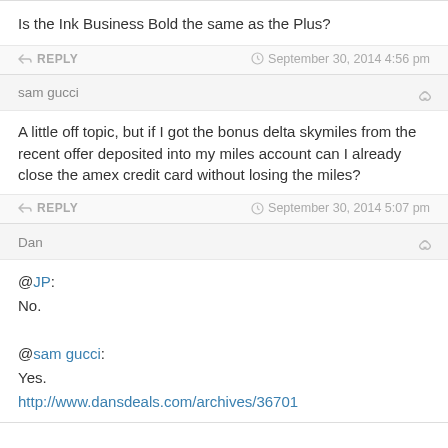Is the Ink Business Bold the same as the Plus?
REPLY   September 30, 2014 4:56 pm
sam gucci
A little off topic, but if I got the bonus delta skymiles from the recent offer deposited into my miles account can I already close the amex credit card without losing the miles?
REPLY   September 30, 2014 5:07 pm
Dan
@JP:
No.

@sam gucci:
Yes.

http://www.dansdeals.com/archives/36701